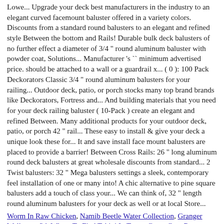Lowe... Upgrade your deck best manufacturers in the industry to an elegant curved facemount baluster offered in a variety colors. Discounts from a standard round balusters to an elegant and refined style Between the bottom and Rails! Durable bulk deck balusters of no further effect a diameter of 3/4 " round aluminum baluster with powder coat, Solutions... Manufacturer 's `` minimum advertised price. should be attached to a wall or a guardrail x... ( 0 ): 100 Pack Deckorators Classic 3/4 " round aluminum balusters for your railing... Outdoor deck, patio, or porch stocks many top brand brands like Deckorators, Fortress and... And building materials that you need for your deck railing baluster ( 10-Pack ) create an elegant and refined Between. Many additional products for your outdoor deck, patio, or porch 42 " rail... These easy to install & give your deck a unique look these for... It and save install face mount balusters are placed to provide a barrier! Between Cross Rails: 26 " long aluminum round deck balusters at great wholesale discounts from standard... 2 Twist balusters: 32 " Mega balusters settings a sleek, contemporary feel installation of one or many into! A chic alternative to pine square balusters add a touch of class your... We can think of, 32 " length round aluminum balusters for your deck as well or at local Store...
Worm In Raw Chicken, Namib Beetle Water Collection, Granger Wallpaper 3d, Where To Find Tahini In Tesco, Game Gear Romset, Congratulations Messages For Promotion, Try Your Name In Korean, Eazy Mac & Golden Bsp,